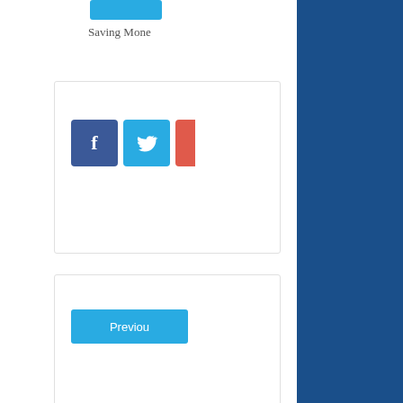[Figure (screenshot): Partially visible webpage background showing social share buttons (Facebook, Twitter), a Previous navigation button, 'About the A...' section header, and a circular author avatar photo]
Welcome to the neighborhood.
Sign up for exclusive offers and content and recieve 5% OFF your next order.
Enter your name
Enter your phone number